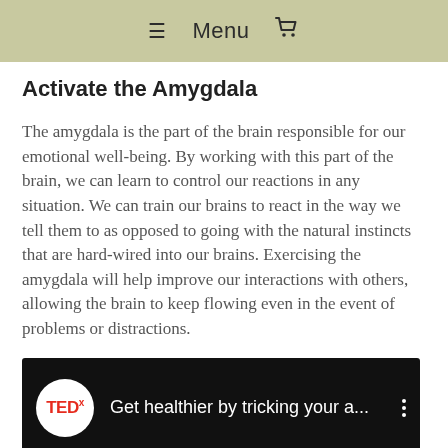≡ Menu 🛒
Activate the Amygdala
The amygdala is the part of the brain responsible for our emotional well-being. By working with this part of the brain, we can learn to control our reactions in any situation. We can train our brains to react in the way we tell them to as opposed to going with the natural instincts that are hard-wired into our brains. Exercising the amygdala will help improve our interactions with others, allowing the brain to keep flowing even in the event of problems or distractions.
[Figure (screenshot): TEDx video thumbnail showing 'Get healthier by tricking your a...' title with TEDx logo circle on black background]